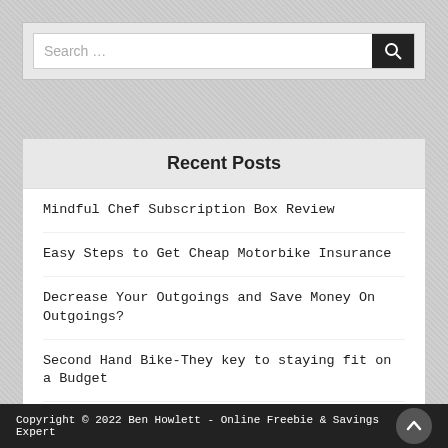[Figure (other): Search bar with text input field placeholder 'Search …' and dark search button with magnifying glass icon]
Recent Posts
Mindful Chef Subscription Box Review
Easy Steps to Get Cheap Motorbike Insurance
Decrease Your Outgoings and Save Money On Outgoings?
Second Hand Bike-They key to staying fit on a Budget
Are you a Hoarder? Then Start Swapping.
Copyright © 2022 Ben Howlett - Online Freebie & Savings Expert